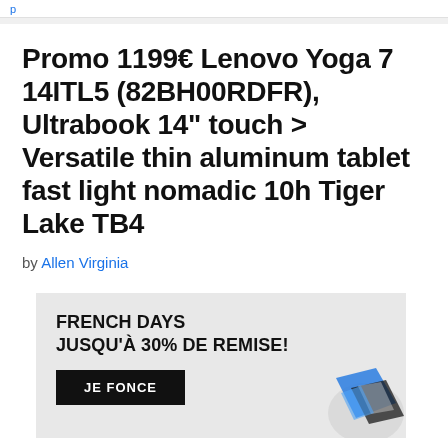p
Promo 1199€ Lenovo Yoga 7 14ITL5 (82BH00RDFR), Ultrabook 14" touch > Versatile thin aluminum tablet fast light nomadic 10h Tiger Lake TB4
by Allen Virginia
[Figure (infographic): Advertisement banner with light gray background. Text reads: FRENCH DAYS JUSQU'À 30% DE REMISE! with a black button labeled JE FONCE and a decorative image of devices on the right side.]